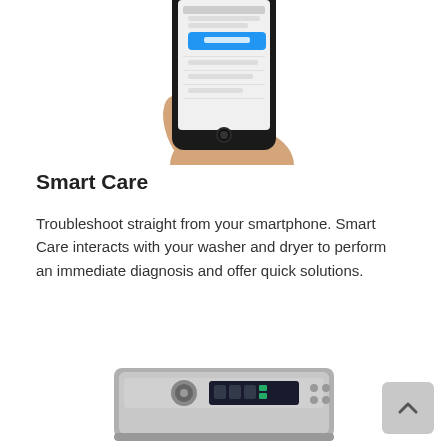[Figure (photo): Hand holding a smartphone displaying a Samsung Smart Care app interface with a blue button and list items on screen]
Smart Care
Troubleshoot straight from your smartphone. Smart Care interacts with your washer and dryer to perform an immediate diagnosis and offer quick solutions.
[Figure (photo): Top portion of a Samsung washing machine with silver/chrome controls and display panel visible at the bottom of the page]